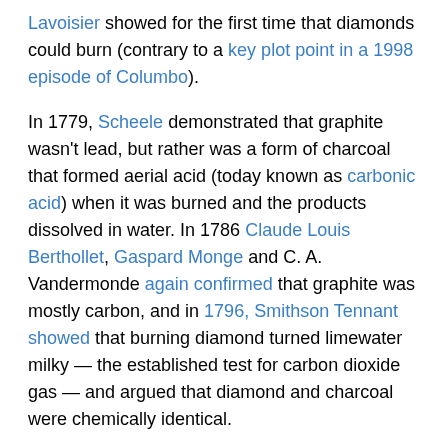Lavoisier showed for the first time that diamonds could burn (contrary to a key plot point in a 1998 episode of Columbo).
In 1779, Scheele demonstrated that graphite wasn't lead, but rather was a form of charcoal that formed aerial acid (today known as carbonic acid) when it was burned and the products dissolved in water. In 1786 Claude Louis Berthollet, Gaspard Monge and C. A. Vandermonde again confirmed that graphite was mostly carbon, and in 1796, Smithson Tennant showed that burning diamond turned limewater milky — the established test for carbon dioxide gas — and argued that diamond and charcoal were chemically identical.
Even that isn't quite the end of the story: fullerenes were discovered 1985, and Harry Kroto, Robert Curl, and